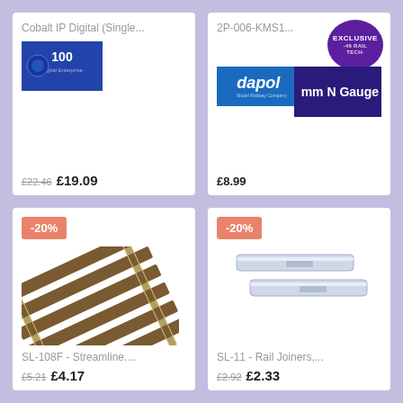Cobalt IP Digital (Single...
£22.46 £19.09
2P-006-KMS1...
mm N Gauge
EXCLUSIVE
£8.99
-20%
SL-108F - Streamline....
£5.21 £4.17
-20%
SL-11 - Rail Joiners,...
£2.92 £2.33